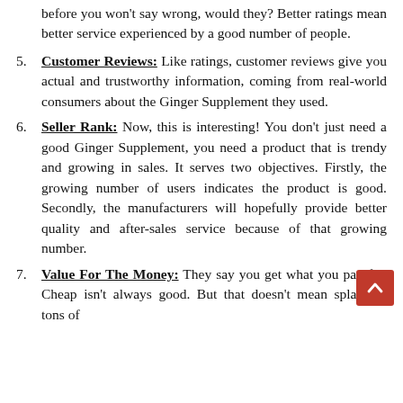before you won't say wrong, would they? Better ratings mean better service experienced by a good number of people.
5. Customer Reviews: Like ratings, customer reviews give you actual and trustworthy information, coming from real-world consumers about the Ginger Supplement they used.
6. Seller Rank: Now, this is interesting! You don't just need a good Ginger Supplement, you need a product that is trendy and growing in sales. It serves two objectives. Firstly, the growing number of users indicates the product is good. Secondly, the manufacturers will hopefully provide better quality and after-sales service because of that growing number.
7. Value For The Money: They say you get what you pay for. Cheap isn't always good. But that doesn't mean splashing tons of